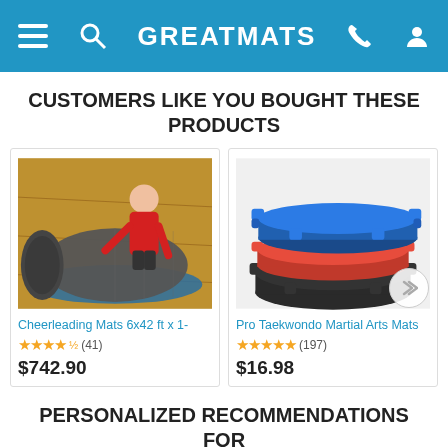GREATMATS
CUSTOMERS LIKE YOU BOUGHT THESE PRODUCTS
[Figure (photo): Cheerleading mat roll with girl in red athletic wear rolling it out in a gymnasium]
Cheerleading Mats 6x42 ft x 1-
★★★★½ (41)
$742.90
[Figure (photo): Stacked blue and red interlocking foam martial arts mat tiles with puzzle edges]
Pro Taekwondo Martial Arts Mats
★★★★★ (197)
$16.98
PERSONALIZED RECOMMENDATIONS FOR